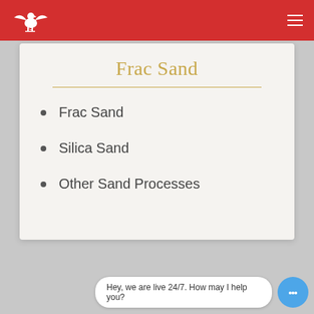Navigation header with logo and hamburger menu
Frac Sand
Frac Sand
Silica Sand
Other Sand Processes
Hey, we are live 24/7. How may I help you?